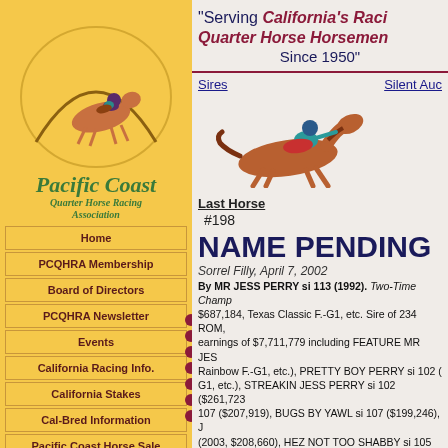[Figure (logo): Pacific Coast Quarter Horse Racing Association logo with horse and jockey illustration in gold circular background]
Pacific Coast Quarter Horse Racing Association
Home
PCQHRA Membership
Board of Directors
PCQHRA Newsletter
Events
California Racing Info.
California Stakes
Cal-Bred Information
Pacific Coast Horse Sale
Pacific Coast Sales Results
Los Alamitos Sales Catalog
Race Standings and Stats.
Affiliations
"Serving California's Racing Quarter Horse Horsemen Since 1950"
Sires    Silent Auc
[Figure (illustration): Running horse with jockey illustration]
Last Horse #198
NAME PENDING
Sorrel Filly, April 7, 2002
By MR JESS PERRY si 113 (1992). Two-Time Champ $687,184, Texas Classic F.-G1, etc. Sire of 234 ROM, earnings of $7,711,779 including FEATURE MR JESS Rainbow F.-G1, etc.), PRETTY BOY PERRY si 102 ( G1, etc.), STREAKIN JESS PERRY si 102 ($261,723 107 ($207,919), BUGS BY YAWL si 107 ($199,246), J (2003, $208,660), HEZ NOT TOO SHABBY si 105 ($ 1st Dam: TRUE TO YOU DARLIN si 97 (1997) by Holland Ea racing age, including an unraced to date two–year- 2nd Dam: SAY SIX MOONS si 99 (1992) by Marthas Six Moo F.-DC3, Horses And Dreams F.-DC3, 3rd Olym